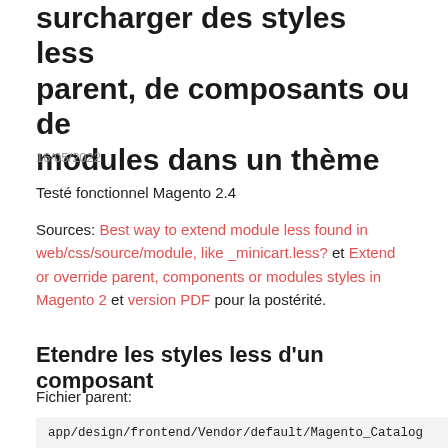surcharger des styles less parent, de composants ou de modules dans un thème
16/05/2022
Testé fonctionnel Magento 2.4
Sources: Best way to extend module less found in web/css/source/module, like _minicart.less? et Extend or override parent, components or modules styles in Magento 2 et version PDF pour la postérité.
Etendre les styles less d'un composant
Fichier parent:
app/design/frontend/Vendor/default/Magento_Catalog